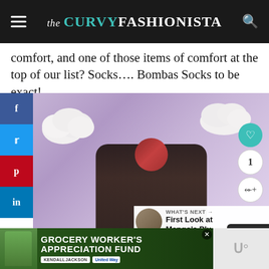the CURVY FASHIONISTA
comfort, and one of those items of comfort at the top of our list? Socks…. Bombas Socks to be exact!
[Figure (photo): A plus-size woman with red/pink hair wearing a dark floral dress poses in front of a pastel purple background with decorative white fluffy cloud decorations. Social media sidebar with Facebook, Twitter, Pinterest, and LinkedIn buttons on the left. Heart/like button, count showing 1, and share button on the right side. A 'What's Next' overlay shows 'First Look at Mango's Plu...' in the bottom right.]
[Figure (photo): Advertisement banner: Grocery Worker's Appreciation Fund with Kendall-Jackson and United Way logos. Shows a person in grocery store setting.]